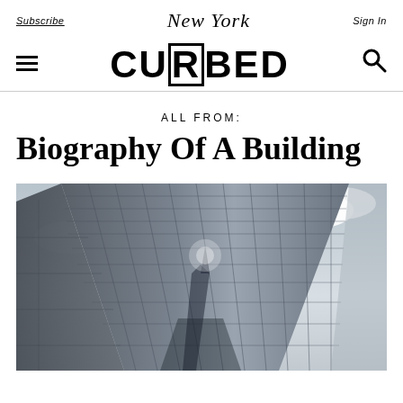Subscribe   New York   Sign In
[Figure (logo): CURBED logo with hamburger menu icon on left and search icon on right]
ALL FROM:
Biography Of A Building
[Figure (photo): Upward-looking photograph of a tall glass and steel skyscraper building facade against a cloudy sky, with reflections of a church spire visible in the glass panels]